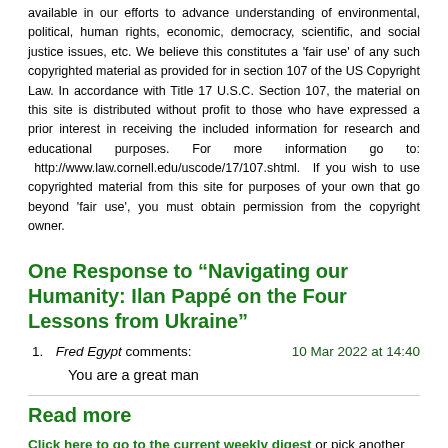available in our efforts to advance understanding of environmental, political, human rights, economic, democracy, scientific, and social justice issues, etc. We believe this constitutes a 'fair use' of any such copyrighted material as provided for in section 107 of the US Copyright Law. In accordance with Title 17 U.S.C. Section 107, the material on this site is distributed without profit to those who have expressed a prior interest in receiving the included information for research and educational purposes. For more information go to: http://www.law.cornell.edu/uscode/17/107.shtml. If you wish to use copyrighted material from this site for purposes of your own that go beyond 'fair use', you must obtain permission from the copyright owner.
One Response to “Navigating our Humanity: Ilan Pappé on the Four Lessons from Ukraine”
Fred Egypt comments: 10 Mar 2022 at 14:40
You are a great man
Read more
Click here to go to the current weekly digest or pick another article:
PALESTINE - ISRAEL: